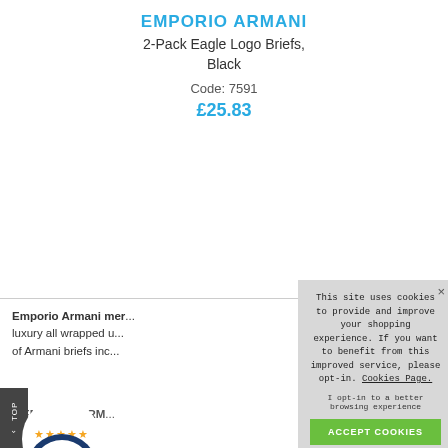EMPORIO ARMANI
2-Pack Eagle Logo Briefs, Black
Code: 7591
£25.83
Emporio Armani mer... luxury all wrapped u... of Armani briefs inc... s. Everything yo... ring unrivalled c... ure to be a sell-o...
[Figure (logo): Star rating widget showing 5.00 stars with Emporio Armani logo badge]
EMPORIO ARM...
...ll range ... the latest m... Armani underwear are rich in italian designer style and are one of our
This site uses cookies to provide and improve your shopping experience. If you want to benefit from this improved service, please opt-in. Cookies Page.

I opt-in to a better browsing experience

ACCEPT COOKIES